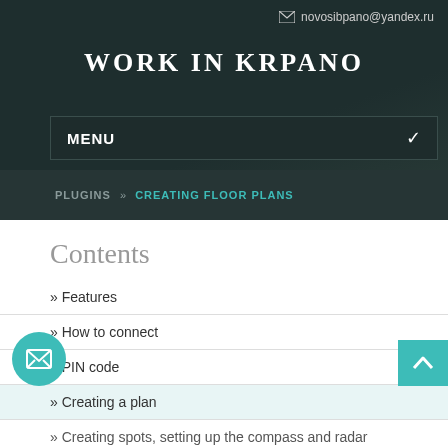novosibpano@yandex.ru
WORK IN KRPANO
MENU
PLUGINS » CREATING FLOOR PLANS
Contents
» Features
» How to connect
» PIN code
» Creating a plan
» Creating spots, setting up the compass and radar